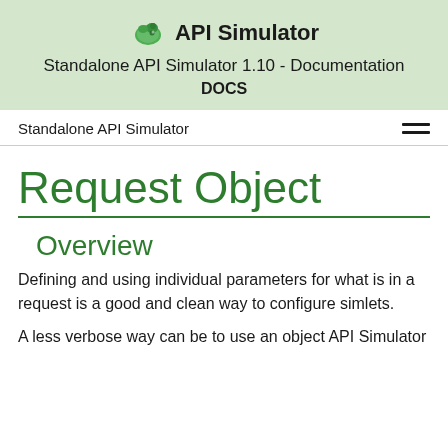API Simulator
Standalone API Simulator 1.10 - Documentation
DOCS
Standalone API Simulator
Request Object
Overview
Defining and using individual parameters for what is in a request is a good and clean way to configure simlets.
A less verbose way can be to use an object API Simulator makes available in Simlets, and by so on. The